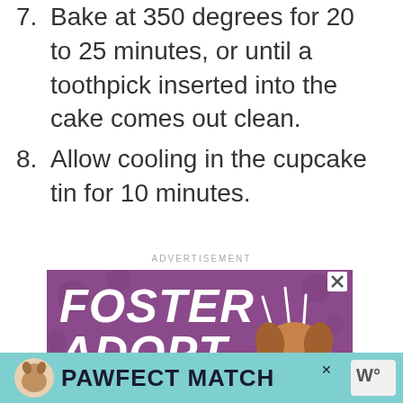7. Bake at 350 degrees for 20 to 25 minutes, or until a toothpick inserted into the cake comes out clean.
8. Allow cooling in the cupcake tin for 10 minutes.
ADVERTISEMENT
[Figure (photo): Advertisement banner with purple background showing 'FOSTER ADOPT RESCUE' text in white bold italic font with a dog photo on the right side and heart decorations]
[Figure (photo): Bottom banner advertisement for 'PAWFECT MATCH' on teal background with small dog logo]